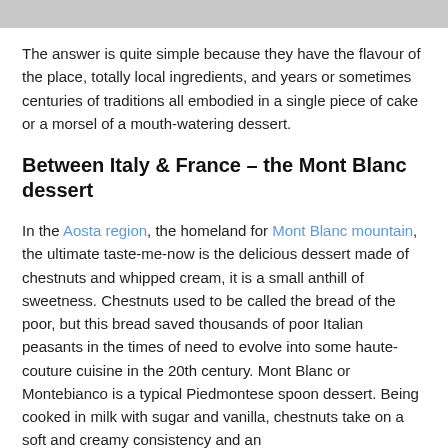The answer is quite simple because they have the flavour of the place, totally local ingredients, and years or sometimes centuries of traditions all embodied in a single piece of cake or a morsel of a mouth-watering dessert.
Between Italy & France – the Mont Blanc dessert
In the Aosta region, the homeland for Mont Blanc mountain, the ultimate taste-me-now is the delicious dessert made of chestnuts and whipped cream, it is a small anthill of sweetness. Chestnuts used to be called the bread of the poor, but this bread saved thousands of poor Italian peasants in the times of need to evolve into some haute-couture cuisine in the 20th century. Mont Blanc or Montebianco is a typical Piedmontese spoon dessert. Being cooked in milk with sugar and vanilla, chestnuts take on a soft and creamy consistency and an